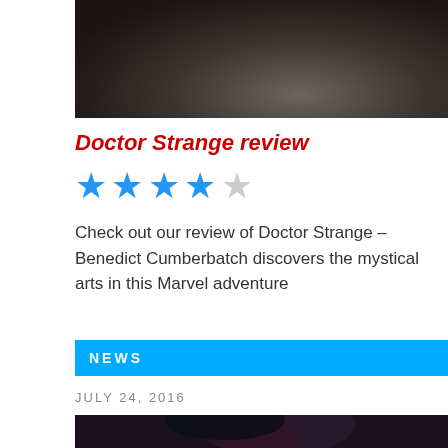[Figure (photo): Dark moody film still showing a figure in a grey coat in dim lighting]
Doctor Strange review
[Figure (other): 4 out of 5 blue star rating]
Check out our review of Doctor Strange – Benedict Cumberbatch discovers the mystical arts in this Marvel adventure
NEWS
JULY 24, 2016
[Figure (photo): Benedict Cumberbatch as Doctor Strange in costume with glowing magical effects]